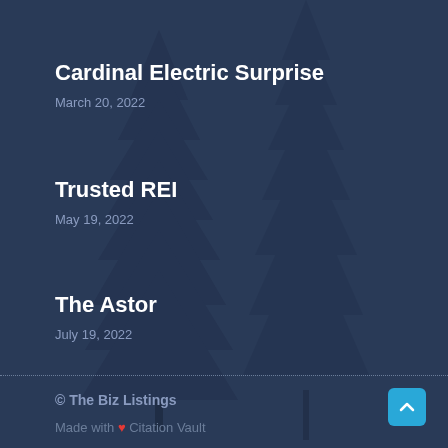Cardinal Electric Surprise
March 20, 2022
Trusted REI
May 19, 2022
The Astor
July 19, 2022
© The Biz Listings
Made with ❤ Citation Vault